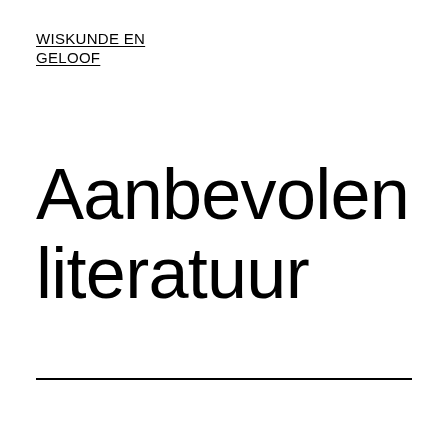WISKUNDE EN GELOOF
Aanbevolen literatuur